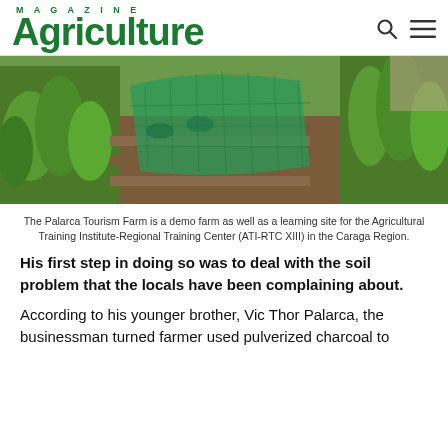AGRICULTURE MAGAZINE
[Figure (photo): Aerial/overhead view of a farm plot with green plants, tires, and a green mesh/net tunnel structure covering crops at Palarca Tourism Farm]
The Palarca Tourism Farm is a demo farm as well as a learning site for the Agricultural Training Institute-Regional Training Center (ATI-RTC XIII) in the Caraga Region.
His first step in doing so was to deal with the soil problem that the locals have been complaining about.
According to his younger brother, Vic Thor Palarca, the businessman turned farmer used pulverized charcoal to neutralize the acidity of the soil that had been the locals'...